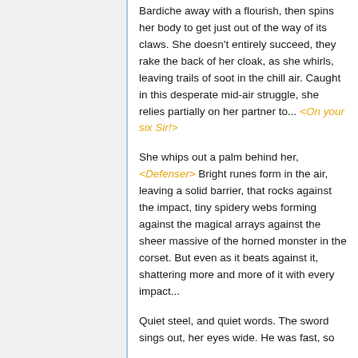Bardiche away with a flourish, then spins her body to get just out of the way of its claws. She doesn't entirely succeed, they rake the back of her cloak, as she whirls, leaving trails of soot in the chill air. Caught in this desperate mid-air struggle, she relies partially on her partner to... <On your six Sir!>
She whips out a palm behind her, <Defenser> Bright runes form in the air, leaving a solid barrier, that rocks against the impact, tiny spidery webs forming against the magical arrays against the sheer massive of the horned monster in the corset. But even as it beats against it, shattering more and more of it with every impact...
Quiet steel, and quiet words. The sword sings out, her eyes wide. He was fast, so